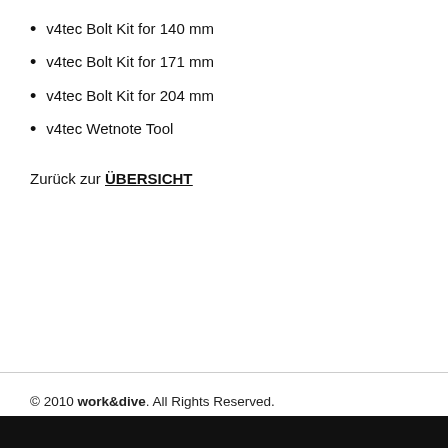v4tec Bolt Kit for 140 mm
v4tec Bolt Kit for 171 mm
v4tec Bolt Kit for 204 mm
v4tec Wetnote Tool
Zurück zur ÜBERSICHT
© 2010 work&dive. All Rights Reserved.